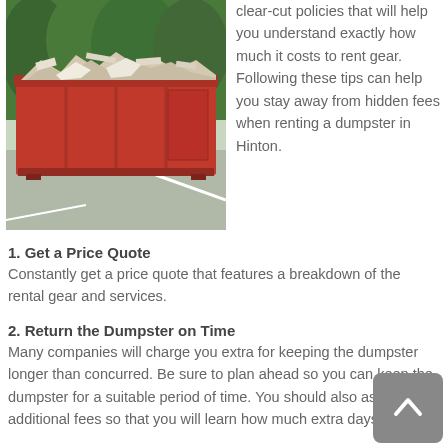[Figure (photo): A large red dumpster filled with debris and waste, parked in a parking lot with trees in the background.]
clear-cut policies that will help you understand exactly how much it costs to rent gear. Following these tips can help you stay away from hidden fees when renting a dumpster in Hinton.
1. Get a Price Quote
Constantly get a price quote that features a breakdown of the rental gear and services.
2. Return the Dumpster on Time
Many companies will charge you extra for keeping the dumpster longer than concurred. Be sure to plan ahead so you can keep the dumpster for a suitable period of time. You should also ask about additional fees so that you will learn how much extra days cost.